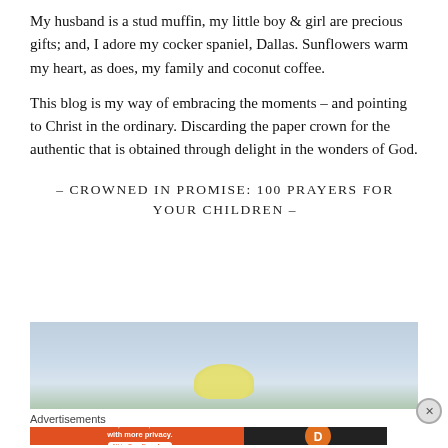My husband is a stud muffin, my little boy & girl are precious gifts; and, I adore my cocker spaniel, Dallas. Sunflowers warm my heart, as does, my family and coconut coffee.
This blog is my way of embracing the moments – and pointing to Christ in the ordinary. Discarding the paper crown for the authentic that is obtained through delight in the wonders of God.
– CROWNED IN PROMISE: 100 PRAYERS FOR YOUR CHILDREN –
[Figure (illustration): Partial illustration showing a light blue/grey background with a yellow flower or plant element at the bottom center]
Advertisements
[Figure (screenshot): DuckDuckGo advertisement banner: orange left section with text 'Search, browse, and email with more privacy. All in One Free App', dark right section with DuckDuckGo logo]